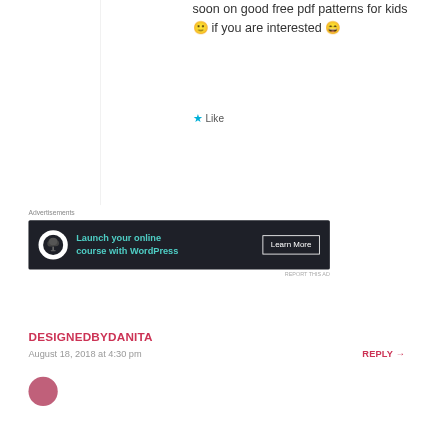soon on good free pdf patterns for kids 🙂 if you are interested 😄
★ Like
[Figure (screenshot): Dark advertisement banner for launching an online course with WordPress. Contains a logo, the text 'Launch your online course with WordPress' in teal, and a 'Learn More' button.]
Advertisements
REPORT THIS AD
DESIGNEDBYDANITA
August 18, 2018 at 4:30 pm
REPLY →
[Figure (illustration): Circular avatar image with pinkish-red color, partially visible at bottom of page.]